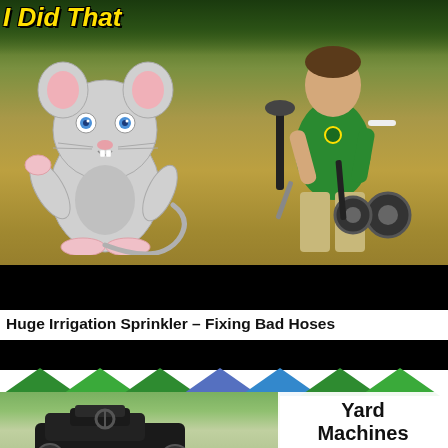[Figure (photo): Video thumbnail showing a man in a green shirt holding irrigation equipment in a dry field, with an animated cartoon mouse overlay and yellow italic bold title text at top reading 'I Did That', black bar at bottom of thumbnail]
Huge Irrigation Sprinkler – Fixing Bad Hoses
[Figure (photo): Second video thumbnail with black bar at top, green and blue triangle design, photo of a black riding lawn mower (Yard Machines Rider) in a driveway with trees in background, white card overlay on right with title 'Yard Machines Rider' and text 'Briggs engine full of water, will it run']
Yard Machines Rider
Briggs engine full of water, will it run